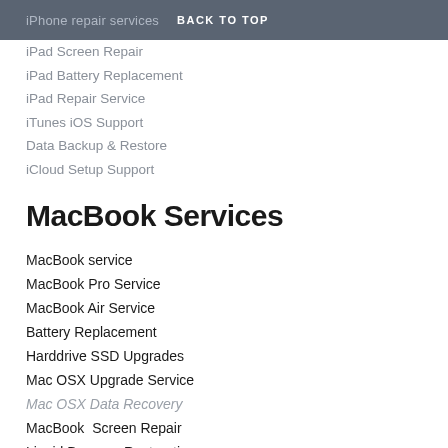iPhone repair services   BACK TO TOP
iPad Screen Repair
iPad Battery Replacement
iPad Repair Service
iTunes iOS Support
Data Backup & Restore
iCloud Setup Support
MacBook Services
MacBook service
MacBook Pro Service
MacBook Air Service
Battery Replacement
Harddrive SSD Upgrades
Mac OSX Upgrade Service
Mac OSX Data Recovery
MacBook  Screen Repair
Liquid Damage Restoration